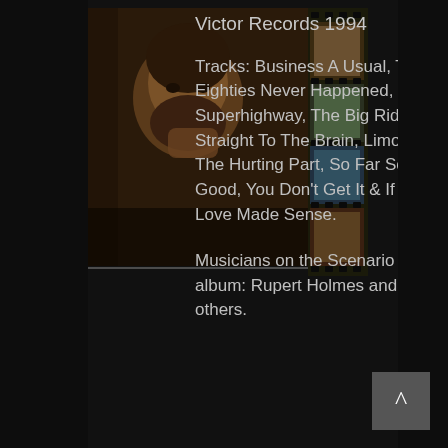[Figure (photo): Album cover photo of a man (Rupert Holmes) with beard in contemplative pose, with a film strip overlay on the right side showing small images]
Victor Records 1994
Tracks: Business A Usual, The Eighties Never Happened, Info Superhighway, The Big Ride, Straight To The Brain, Limo, The Hurting Part, So Far So Good, You Don't Get It & If Love Made Sense.
Musicians on the Scenario album: Rupert Holmes and others.